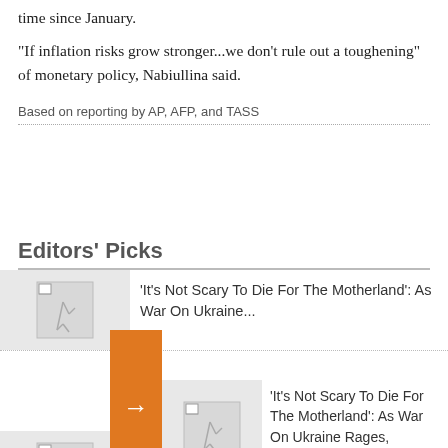time since January.
"If inflation risks grow stronger...we don't rule out a toughening" of monetary policy, Nabiullina said.
Based on reporting by AP, AFP, and TASS
Editors' Picks
'It's Not Scary To Die For The Motherland': As War On Ukraine...
[Figure (photo): Thumbnail image placeholder for article]
[Figure (photo): Thumbnail image placeholder for second article]
'It's Not Scary To Die For The Motherland': As War On Ukraine Rages, Russian Children Targeted For 'Patriotic' Education